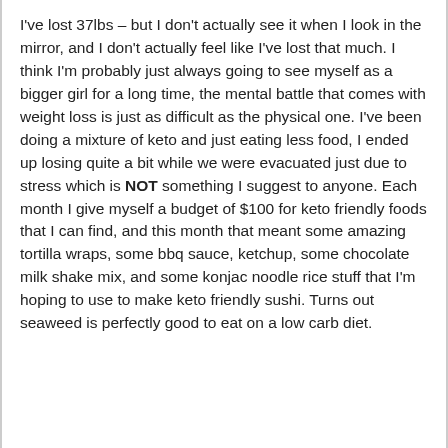I've lost 37lbs – but I don't actually see it when I look in the mirror, and I don't actually feel like I've lost that much. I think I'm probably just always going to see myself as a bigger girl for a long time, the mental battle that comes with weight loss is just as difficult as the physical one. I've been doing a mixture of keto and just eating less food, I ended up losing quite a bit while we were evacuated just due to stress which is NOT something I suggest to anyone. Each month I give myself a budget of $100 for keto friendly foods that I can find, and this month that meant some amazing tortilla wraps, some bbq sauce, ketchup, some chocolate milk shake mix, and some konjac noodle rice stuff that I'm hoping to use to make keto friendly sushi. Turns out seaweed is perfectly good to eat on a low carb diet.